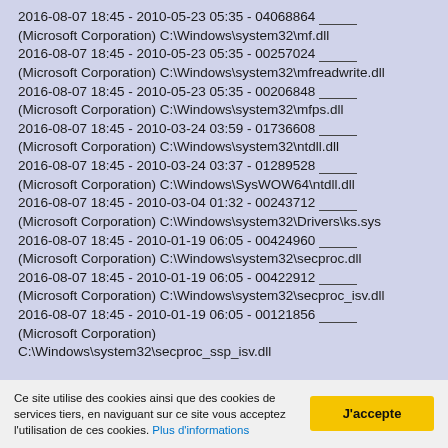2016-08-07 18:45 - 2010-05-23 05:35 - 04068864 _____ (Microsoft Corporation) C:\Windows\system32\mf.dll
2016-08-07 18:45 - 2010-05-23 05:35 - 00257024 _____ (Microsoft Corporation) C:\Windows\system32\mfreadwrite.dll
2016-08-07 18:45 - 2010-05-23 05:35 - 00206848 _____ (Microsoft Corporation) C:\Windows\system32\mfps.dll
2016-08-07 18:45 - 2010-03-24 03:59 - 01736608 _____ (Microsoft Corporation) C:\Windows\system32\ntdll.dll
2016-08-07 18:45 - 2010-03-24 03:37 - 01289528 _____ (Microsoft Corporation) C:\Windows\SysWOW64\ntdll.dll
2016-08-07 18:45 - 2010-03-04 01:32 - 00243712 _____ (Microsoft Corporation) C:\Windows\system32\Drivers\ks.sys
2016-08-07 18:45 - 2010-01-19 06:05 - 00424960 _____ (Microsoft Corporation) C:\Windows\system32\secproc.dll
2016-08-07 18:45 - 2010-01-19 06:05 - 00422912 _____ (Microsoft Corporation) C:\Windows\system32\secproc_isv.dll
2016-08-07 18:45 - 2010-01-19 06:05 - 00121856 _____ (Microsoft Corporation) C:\Windows\system32\secproc_ssp_isv.dll
Ce site utilise des cookies ainsi que des cookies de services tiers, en naviguant sur ce site vous acceptez l'utilisation de ces cookies. Plus d'informations